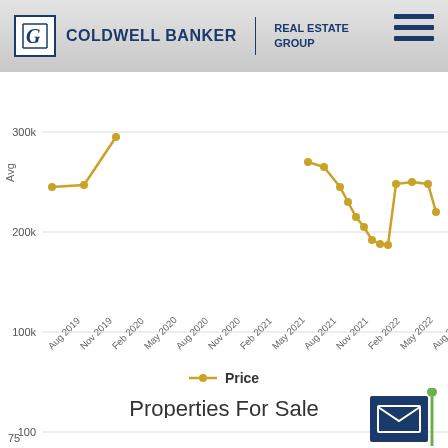Coldwell Banker Real Estate Group
[Figure (line-chart): Average Price]
Price
Properties For Sale
[Figure (line-chart): Properties For Sale]